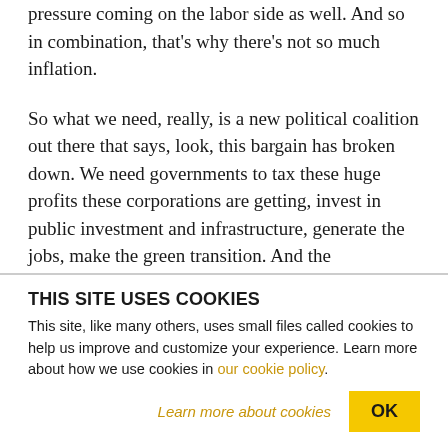pressure coming on the labor side as well. And so in combination, that's why there's not so much inflation.
So what we need, really, is a new political coalition out there that says, look, this bargain has broken down. We need governments to tax these huge profits these corporations are getting, invest in public investment and infrastructure, generate the jobs, make the green transition. And the Democratic Party isn't moving in that direction at all. They're
THIS SITE USES COOKIES
This site, like many others, uses small files called cookies to help us improve and customize your experience. Learn more about how we use cookies in our cookie policy.
Learn more about cookies
OK